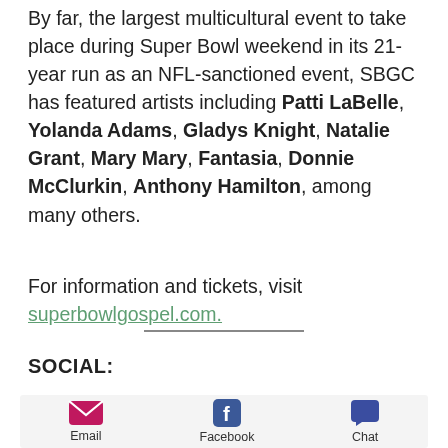By far, the largest multicultural event to take place during Super Bowl weekend in its 21-year run as an NFL-sanctioned event, SBGC has featured artists including Patti LaBelle, Yolanda Adams, Gladys Knight, Natalie Grant, Mary Mary, Fantasia, Donnie McClurkin, Anthony Hamilton, among many others.
For information and tickets, visit superbowlgospel.com.
SOCIAL:
[Figure (infographic): Social sharing buttons row: Email (pink envelope icon), Facebook (blue F icon), Chat (blue speech bubble icon)]